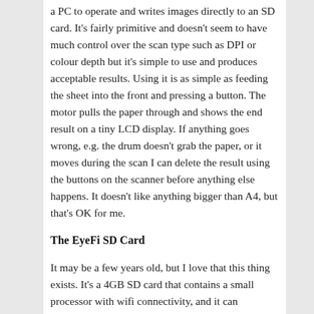a PC to operate and writes images directly to an SD card. It's fairly primitive and doesn't seem to have much control over the scan type such as DPI or colour depth but it's simple to use and produces acceptable results. Using it is as simple as feeding the sheet into the front and pressing a button. The motor pulls the paper through and shows the end result on a tiny LCD display. If anything goes wrong, e.g. the drum doesn't grab the paper, or it moves during the scan I can delete the result using the buttons on the scanner before anything else happens. It doesn't like anything bigger than A4, but that's OK for me.
The EyeFi SD Card
It may be a few years old, but I love that this thing exists. It's a 4GB SD card that contains a small processor with wifi connectivity, and it can